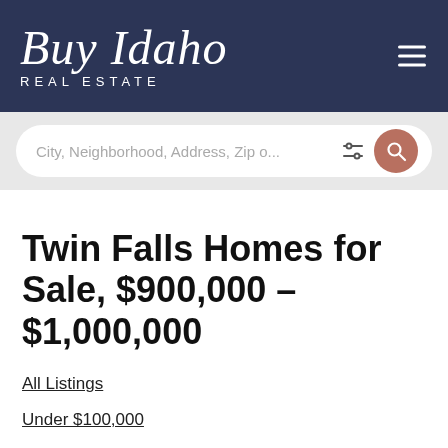Buy Idaho REAL ESTATE
[Figure (screenshot): Search bar with placeholder text: City, Neighborhood, Address, Zip o... with filter icon and terracotta search button]
Twin Falls Homes for Sale, $900,000 – $1,000,000
All Listings
Under $100,000
$100,000 – $200,000